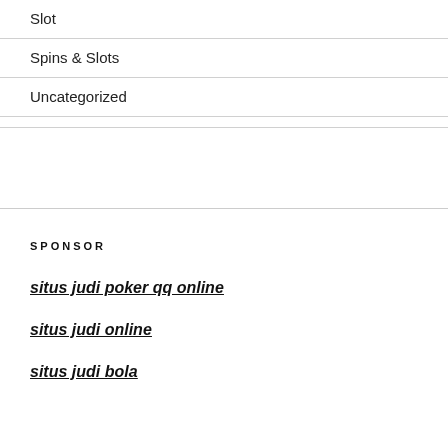Slot
Spins & Slots
Uncategorized
SPONSOR
situs judi poker qq online
situs judi online
situs judi bola